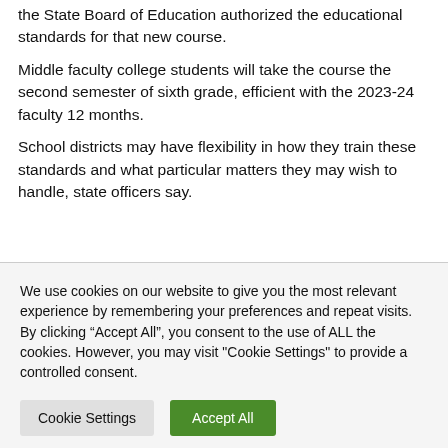the State Board of Education authorized the educational standards for that new course.
Middle faculty college students will take the course the second semester of sixth grade, efficient with the 2023-24 faculty 12 months.
School districts may have flexibility in how they train these standards and what particular matters they may wish to handle, state officers say.
We use cookies on our website to give you the most relevant experience by remembering your preferences and repeat visits. By clicking “Accept All”, you consent to the use of ALL the cookies. However, you may visit "Cookie Settings" to provide a controlled consent.